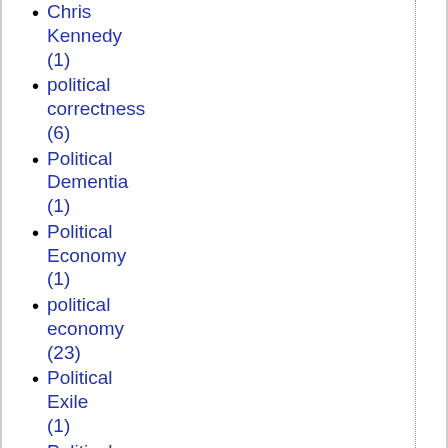Chris Kennedy (1)
political correctness (6)
Political Dementia (1)
Political Economy (1)
political economy (23)
Political Exile (1)
Political History (1)
political modernism (1)
political